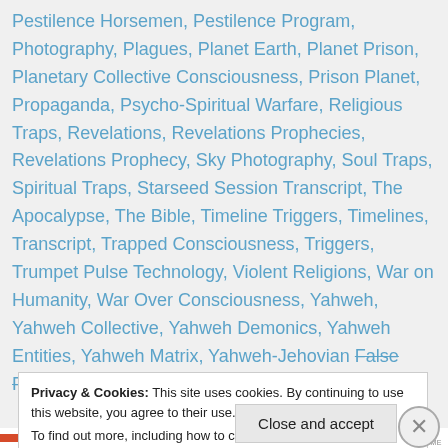Pestilence Horsemen, Pestilence Program, Photography, Plagues, Planet Earth, Planet Prison, Planetary Collective Consciousness, Prison Planet, Propaganda, Psycho-Spiritual Warfare, Religious Traps, Revelations, Revelations Prophecies, Revelations Prophecy, Sky Photography, Soul Traps, Spiritual Traps, Starseed Session Transcript, The Apocalypse, The Bible, Timeline Triggers, Timelines, Transcript, Trapped Consciousness, Triggers, Trumpet Pulse Technology, Violent Religions, War on Humanity, War Over Consciousness, Yahweh, Yahweh Collective, Yahweh Demonics, Yahweh Entities, Yahweh Matrix, Yahweh-Jehovian False Father God, Yahweh Jehovian False Father God
Privacy & Cookies: This site uses cookies. By continuing to use this website, you agree to their use.
To find out more, including how to control cookies, see here: Cookie Policy